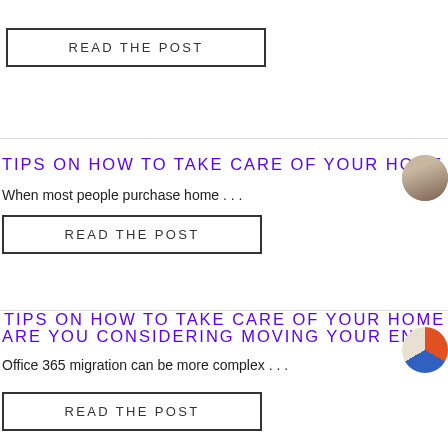READ THE POST
TIPS ON HOW TO TAKE CARE OF YOUR HOME
When most people purchase home . . .
READ THE POST
ARE YOU CONSIDERING MOVING YOUR ENTI…
Office 365 migration can be more complex . . .
READ THE POST